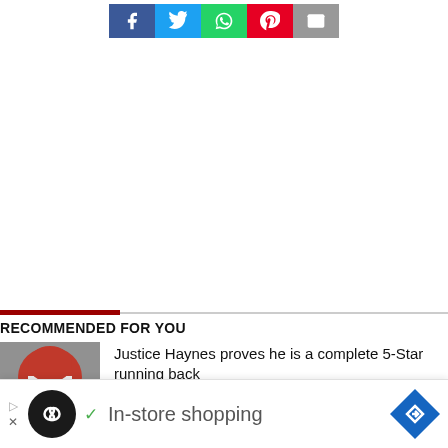[Figure (other): Social media share buttons: Facebook, Twitter, WhatsApp, Pinterest, Email]
RECOMMENDED FOR YOU
[Figure (photo): Thumbnail of football player wearing red helmet]
Justice Haynes proves he is a complete 5-Star running back
[Figure (other): Advertisement banner: In-store shopping with infinity logo and navigation arrow]
In-store shopping